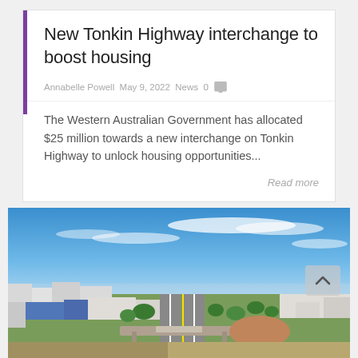New Tonkin Highway interchange to boost housing
Annabelle Powell  May 9, 2022  News  0
The Western Australian Government has allocated $25 million towards a new interchange on Tonkin Highway to unlock housing opportunities...
Read more
[Figure (photo): Aerial drone photograph of Tonkin Highway interchange area showing highway, surrounding industrial buildings, parklands and suburbs under a blue sky with wispy clouds]